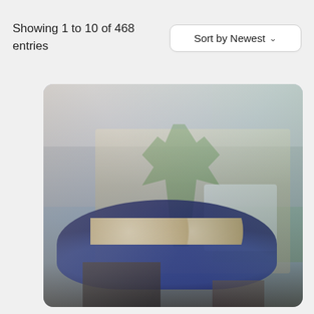Showing 1 to 10 of 468 entries
Sort by Newest
[Figure (photo): Composite/double-exposure photograph showing an interior dining room scene (with a round blue dining table set with plates, white cabinetry) overlaid with an exterior view of multi-story apartment buildings with palm trees and outdoor patio/pool area.]